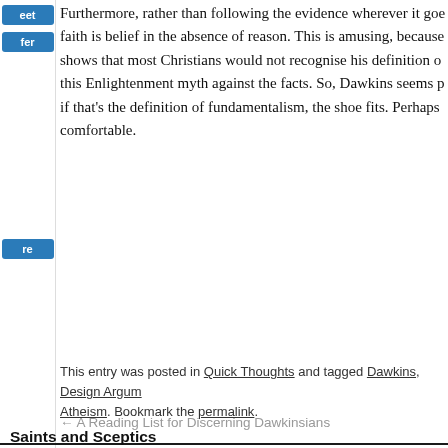Furthermore, rather than following the evidence wherever it goes, faith is belief in the absence of reason. This is amusing, because shows that most Christians would not recognise his definition of this Enlightenment myth against the facts. So, Dawkins seems p if that's the definition of fundamentalism, the shoe fits. Perhaps comfortable.
This entry was posted in Quick Thoughts and tagged Dawkins, Design Argum Atheism. Bookmark the permalink.
← A Reading List for Discerning Dawkinsians
Saints and Sceptics